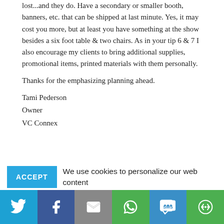lost...and they do. Have a secondary or smaller booth, banners, etc. that can be shipped at last minute. Yes, it may cost you more, but at least you have something at the show besides a six foot table & two chairs. As in your tip 6 & 7 I also encourage my clients to bring additional supplies, promotional items, printed materials with them personally.
Thanks for the emphasizing planning ahead.
Tami Pederson
Owner
VC Connex
We use cookies to personalize our web content and analyze our traffic. We share this information with Skyline dealers who may combine it with information you provided them